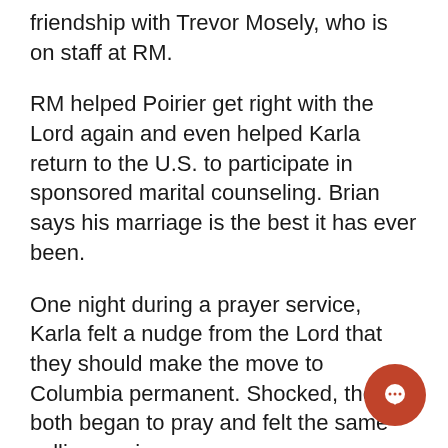friendship with Trevor Mosely, who is on staff at RM.
RM helped Poirier get right with the Lord again and even helped Karla return to the U.S. to participate in sponsored marital counseling. Brian says his marriage is the best it has ever been.
One night during a prayer service, Karla felt a nudge from the Lord that they should make the move to Columbia permanent. Shocked, they both began to pray and felt the same calling again.
In Puerto Rico, they had been selling roasted coffee to help fund orphanages and addiction recovery